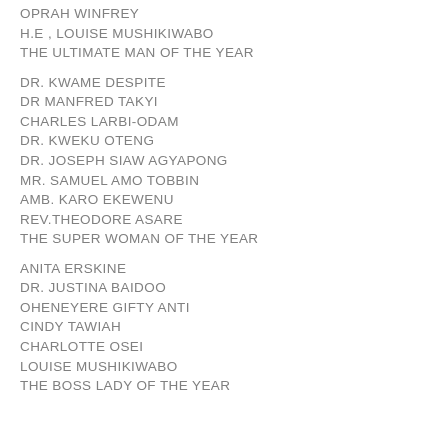OPRAH WINFREY
H.E , LOUISE MUSHIKIWABO
THE ULTIMATE MAN OF THE YEAR
DR. KWAME DESPITE
DR MANFRED TAKYI
CHARLES LARBI-ODAM
DR. KWEKU OTENG
DR. JOSEPH SIAW AGYAPONG
MR. SAMUEL AMO TOBBIN
AMB. KARO EKEWENU
REV.THEODORE ASARE
THE SUPER WOMAN OF THE YEAR
ANITA ERSKINE
DR. JUSTINA BAIDOO
OHENEYERE GIFTY ANTI
CINDY TAWIAH
CHARLOTTE OSEI
LOUISE MUSHIKIWABO
THE BOSS LADY OF THE YEAR